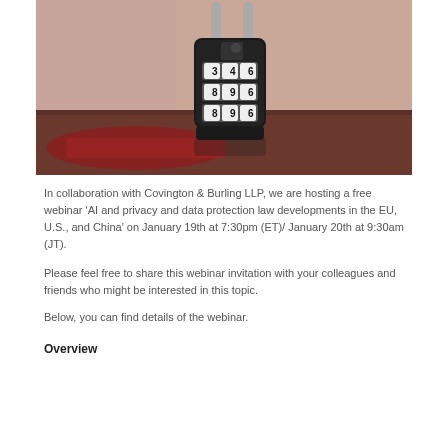[Figure (photo): Close-up photo of a black combination padlock with numbered dials showing 3-4-something, 8-9-something, 8-9-something, placed on a dark wooden surface with a blurred brick wall background]
In collaboration with Covington & Burling LLP, we are hosting a free webinar 'AI and privacy and data protection law developments in the EU, U.S., and China' on January 19th at 7:30pm (ET)/ January 20th at 9:30am (JT).
Please feel free to share this webinar invitation with your colleagues and friends who might be interested in this topic.
Below, you can find details of the webinar.
Overview